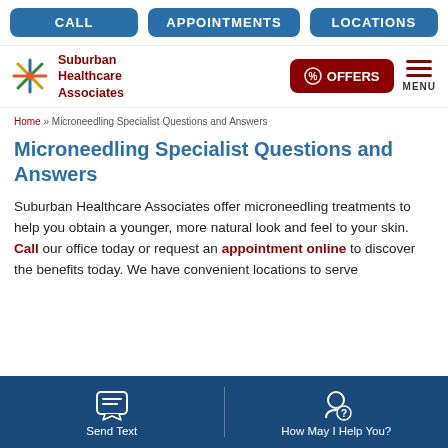CALL | APPOINTMENTS | LOCATIONS
[Figure (logo): Suburban Healthcare Associates logo with colorful asterisk/star icon and red text]
[Figure (infographic): OFFERS button (red rounded rectangle with tag icon) and MENU hamburger icon (red lines)]
Home » Microneedling Specialist Questions and Answers
Microneedling Specialist Questions and Answers
Suburban Healthcare Associates offer microneedling treatments to help you obtain a younger, more natural look and feel to your skin. Call our office today or request an appointment online to discover the benefits today. We have convenient locations to serve
Send Text | How May I Help You?